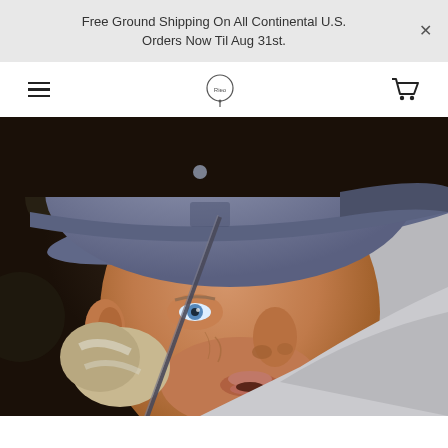Free Ground Shipping On All Continental U.S. Orders Now Til Aug 31st.
[Figure (logo): Navigation bar with hamburger menu icon on the left, a circular brand logo (Rieo) in the center, and a shopping cart icon on the right]
[Figure (photo): Close-up photograph of a middle-aged man wearing a blue/grey baseball cap, caught mid-swing playing golf. He has light hair, blue eyes, and is wearing a grey sweatshirt with a teal collar. A golf club is visible near his shoulder.]